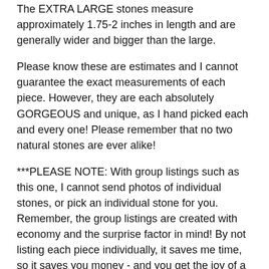The EXTRA LARGE stones measure approximately 1.75-2 inches in length and are generally wider and bigger than the large.
Please know these are estimates and I cannot guarantee the exact measurements of each piece. However, they are each absolutely GORGEOUS and unique, as I hand picked each and every one! Please remember that no two natural stones are ever alike!
***PLEASE NOTE: With group listings such as this one, I cannot send photos of individual stones, or pick an individual stone for you. Remember, the group listings are created with economy and the surprise factor in mind! By not listing each piece individually, it saves me time, so it saves you money - and you get the joy of a surprise in your parcel!
--------------------
All stones and crystals in our shop have been cleansed with our natural mountain spring water (except for those that may